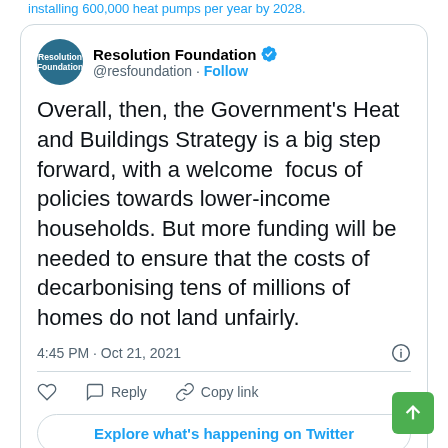installing 600,000 heat pumps per year by 2028.
[Figure (screenshot): Tweet from Resolution Foundation (@resfoundation) with verified badge and Follow button. Tweet text: 'Overall, then, the Government's Heat and Buildings Strategy is a big step forward, with a welcome focus of policies towards lower-income households. But more funding will be needed to ensure that the costs of decarbonising tens of millions of homes do not land unfairly.' Timestamp: 4:45 PM · Oct 21, 2021. Actions: Like, Reply, Copy link. Button: Explore what's happening on Twitter.]
We can only hope that the government will acknowledge this and provide further help to low-income households while not putting pressure on